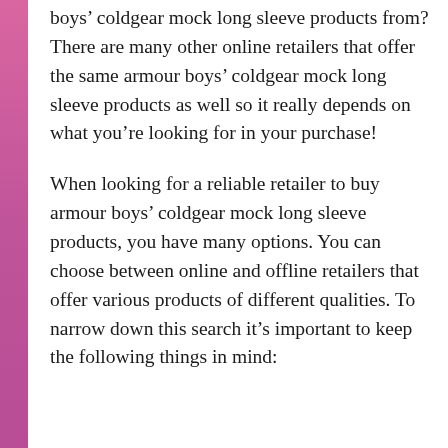boys’ coldgear mock long sleeve products from? There are many other online retailers that offer the same armour boys’ coldgear mock long sleeve products as well so it really depends on what you’re looking for in your purchase!
When looking for a reliable retailer to buy armour boys’ coldgear mock long sleeve products, you have many options. You can choose between online and offline retailers that offer various products of different qualities. To narrow down this search it’s important to keep the following things in mind: